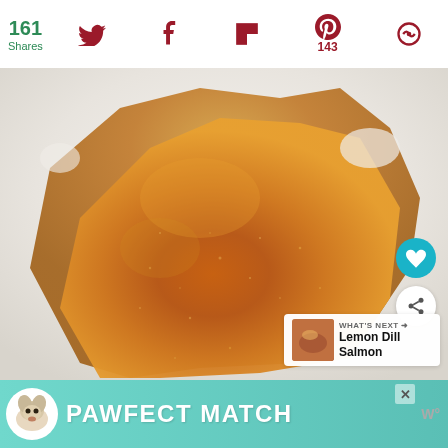161 Shares
[Figure (screenshot): Social media share bar with Twitter, Facebook, Flipboard, Pinterest (143), and another icon share buttons]
[Figure (photo): Close-up macro photo of a translucent amber/golden cannabis concentrate (shatter/wax) on a white background]
WHAT'S NEXT → Lemon Dill Salmon
PAWFECT MATCH